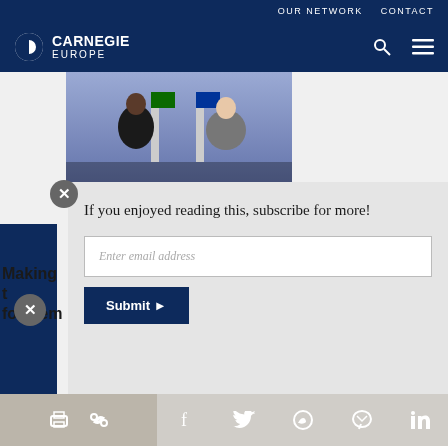OUR NETWORK   CONTACT
[Figure (logo): Carnegie Europe logo with half-circle icon]
[Figure (photo): Two people at a press conference with EU and African Union flags in the background]
Making t... for Dem...
If you enjoyed reading this, subscribe for more!
Enter email address
Submit ▶
Social sharing icons: print, link, facebook, twitter, whatsapp, messenger, linkedin